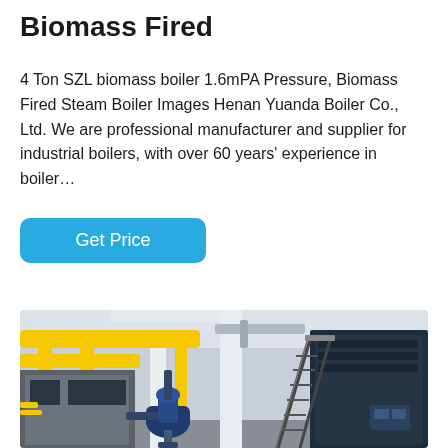Biomass Fired
4 Ton SZL biomass boiler 1.6mPA Pressure, Biomass Fired Steam Boiler Images Henan Yuanda Boiler Co., Ltd. We are professional manufacturer and supplier for industrial boilers, with over 60 years' experience in boiler…
Get Price
[Figure (photo): Industrial boiler room interior showing yellow pipes, white structural columns, a blue pump/motor assembly in the foreground, and a dark blue industrial boiler with metal staircase on the right side.]